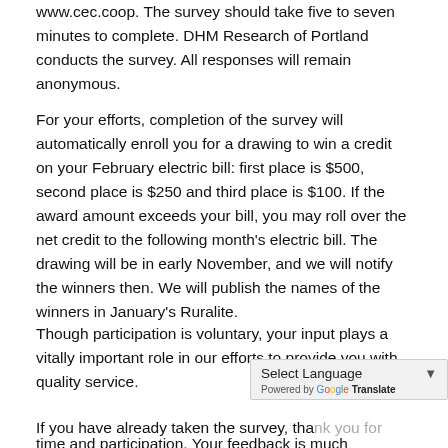www.cec.coop. The survey should take five to seven minutes to complete. DHM Research of Portland conducts the survey. All responses will remain anonymous.
For your efforts, completion of the survey will automatically enroll you for a drawing to win a credit on your February electric bill: first place is $500, second place is $250 and third place is $100. If the award amount exceeds your bill, you may roll over the net credit to the following month's electric bill. The drawing will be in early November, and we will notify the winners then. We will publish the names of the winners in January's Ruralite.
Though participation is voluntary, your input plays a vitally important role in our efforts to provide you with quality service.
If you have already taken the survey, thank you for your time and participation. Your feedback is much appreciated